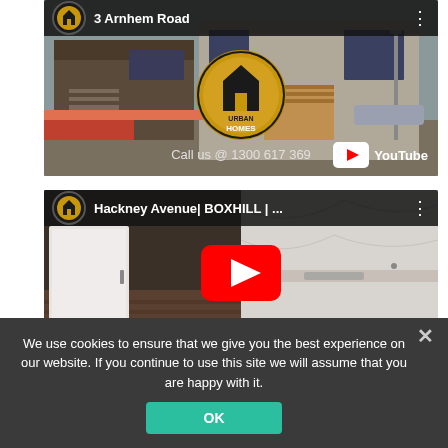[Figure (screenshot): YouTube video thumbnail for '3 Arnhem Road' by Urban Homes channel, showing a modern two-storey house, Urban Homes logo in center, 'Call us @ 1300 617 369' text, YouTube logo bottom right]
[Figure (screenshot): YouTube video thumbnail for 'Hackney Avenue| BOXHILL | ...' by Urban Homes channel, showing kitchen interior with red YouTube play button overlay]
We use cookies to ensure that we give you the best experience on our website. If you continue to use this site we will assume that you are happy with it.
OK